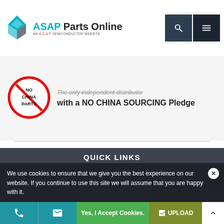ASAP Parts Online — AN A.S.A.P SEMICONDUCTOR WEBSITE
[Figure (logo): ASAP Parts Online logo with teal aircraft symbol and text]
The only independent distributor with a NO CHINA SOURCING Pledge
[Figure (illustration): No China Parts red circle-slash badge]
QUICK LINKS
Home
Engine Gas Turbine Parts
General Electric Parts
MRO Support
We use cookies to ensure that we give you the best experience on our website. If you continue to use this site we will assume that you are happy with it.
Yes, I Accept Cookies.
UPLOAD